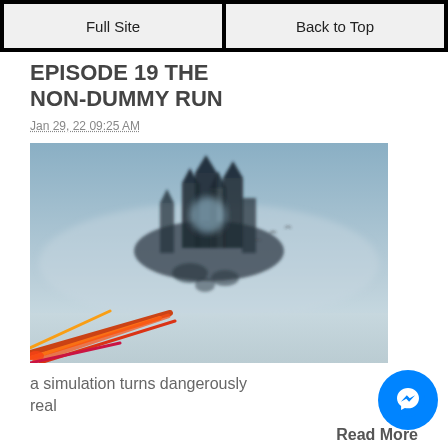Full Site | Back to Top
EPISODE 19 THE NON-DUMMY RUN
Jan 29, 22 09:25 AM
[Figure (illustration): A fantasy floating castle in a misty blue-gray sky with dark silhouette structures and colorful foreground elements at the bottom.]
a simulation turns dangerously real
Read More
WHAT TO SEE ON THE RUN